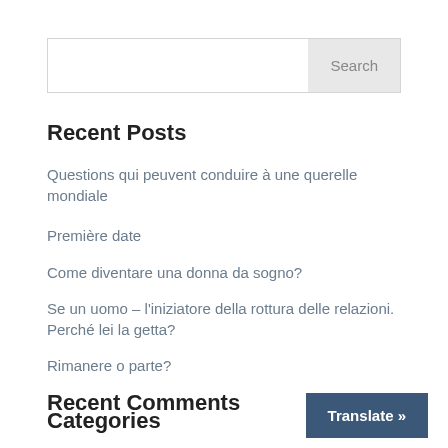Search
Recent Posts
Questions qui peuvent conduire à une querelle mondiale
Première date
Come diventare una donna da sogno?
Se un uomo – l'iniziatore della rottura delle relazioni. Perché lei la getta?
Rimanere o parte?
Recent Comments
Categories
Translate »